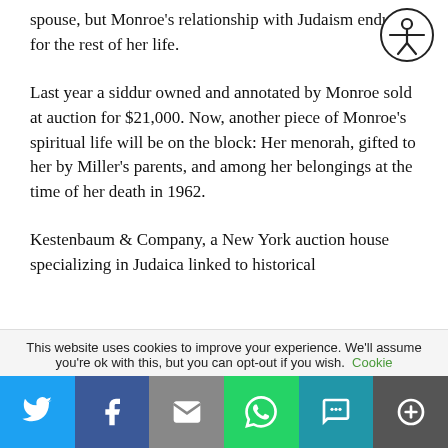spouse, but Monroe's relationship with Judaism endured for the rest of her life.
Last year a siddur owned and annotated by Monroe sold at auction for $21,000. Now, another piece of Monroe's spiritual life will be on the block: Her menorah, gifted to her by Miller's parents, and among her belongings at the time of her death in 1962.
Kestenbaum & Company, a New York auction house specializing in Judaica linked to historical
This website uses cookies to improve your experience. We'll assume you're ok with this, but you can opt-out if you wish. Cookie